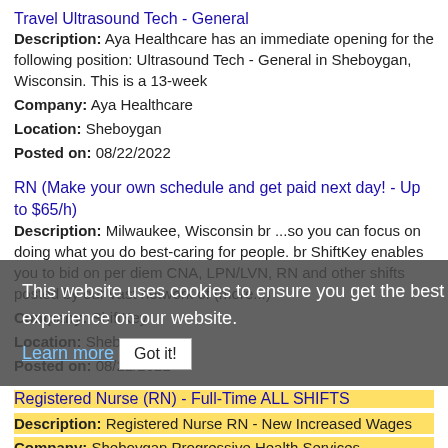Travel Ultrasound Tech - General
Description: Aya Healthcare has an immediate opening for the following position: Ultrasound Tech - General in Sheboygan, Wisconsin. This is a 13-week
Company: Aya Healthcare
Location: Sheboygan
Posted on: 08/22/2022
RN (Make your own schedule and get paid next day! - Up to $65/h)
Description: Milwaukee, Wisconsin br ...so you can focus on doing what you do best-caring for people. br ShiftKey enables you to bid on per diem CNA, LPN/LVN, RN and other shifts posted by our vast network of (more...)
Company: ShiftKey
Location: Sheboygan
Posted on: 08/22/2022
This website uses cookies to ensure you get the best experience on our website. Learn more Got it!
Registered Nurse (RN) - Full-Time ALL SHIFTS
Description: Registered Nurse RN - New Increased Wages
Company: Sheboygan Progressive Health Services
Location: Sheboygan
Posted on: 08/22/2022